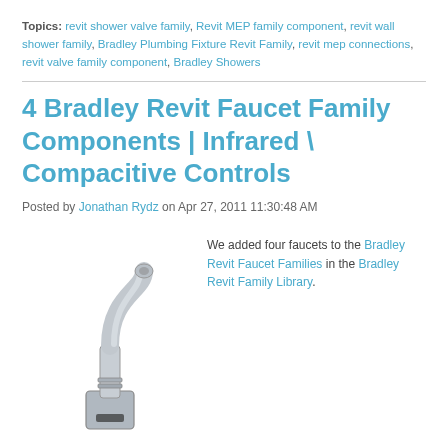Topics: revit shower valve family, Revit MEP family component, revit wall shower family, Bradley Plumbing Fixture Revit Family, revit mep connections, revit valve family component, Bradley Showers
4 Bradley Revit Faucet Family Components | Infrared \ Compacitive Controls
Posted by Jonathan Rydz on Apr 27, 2011 11:30:48 AM
[Figure (photo): Photo of a chrome infrared/sensor faucet with a gooseneck spout and sensor base, shown from an angled front view.]
We added four faucets to the Bradley Revit Faucet Families in the Bradley Revit Family Library.